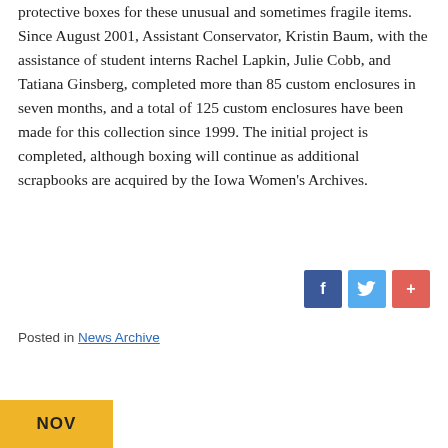protective boxes for these unusual and sometimes fragile items. Since August 2001, Assistant Conservator, Kristin Baum, with the assistance of student interns Rachel Lapkin, Julie Cobb, and Tatiana Ginsberg, completed more than 85 custom enclosures in seven months, and a total of 125 custom enclosures have been made for this collection since 1999. The initial project is completed, although boxing will continue as additional scrapbooks are acquired by the Iowa Women's Archives.
[Figure (other): Social sharing buttons: Facebook (f), Twitter (bird icon), and a plus (+) button]
Posted in News Archive
NOV